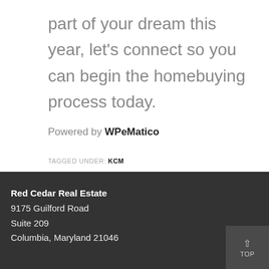part of your dream this year, let's connect so you can begin the homebuying process today.
Powered by WPeMatico
TAGGED UNDER: KCM
Red Cedar Real Estate
9175 Guilford Road
Suite 209
Columbia, Maryland 21046